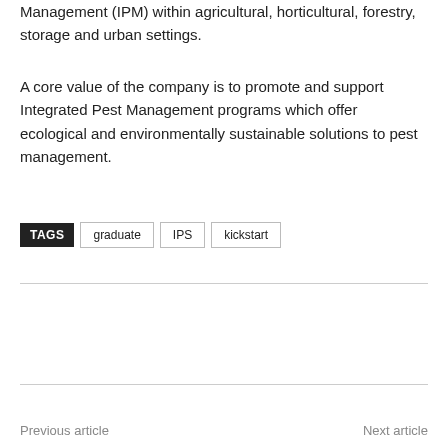Management (IPM) within agricultural, horticultural, forestry, storage and urban settings.
A core value of the company is to promote and support Integrated Pest Management programs which offer ecological and environmentally sustainable solutions to pest management.
TAGS  graduate  IPS  kickstart
[Figure (other): Facebook Like button showing 0 likes]
Previous article    Next article